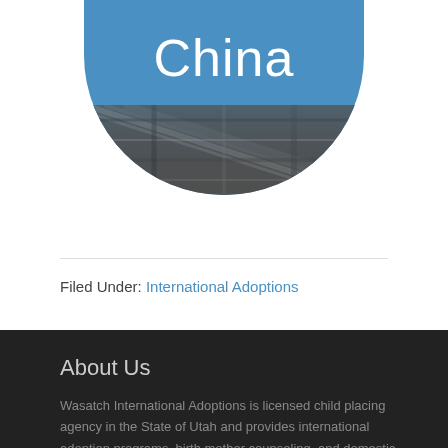[Figure (illustration): Circular badge with blue background showing the word 'China' in white text at the top, with a fabric/textile pattern image in the lower portion of the circle.]
Filed Under: International Adoptions
About Us
Wasatch International Adoptions is licensed child placing agency in the State of Utah and provides international adoption programs, birth mother counseling, and domestic adoption assistance. WIA is a non-profit, 501(c)3 organization and we are COA/Hague accredited.